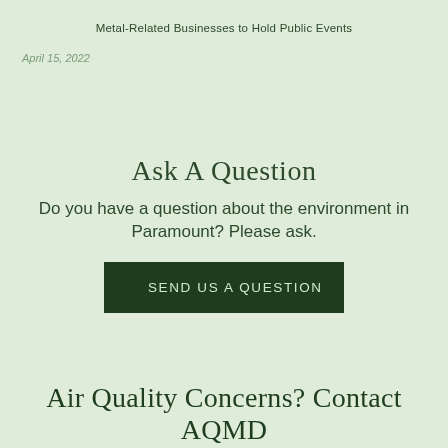Metal-Related Businesses to Hold Public Events
April 15, 2022
Ask A Question
Do you have a question about the environment in Paramount? Please ask.
SEND US A QUESTION
Air Quality Concerns? Contact AQMD